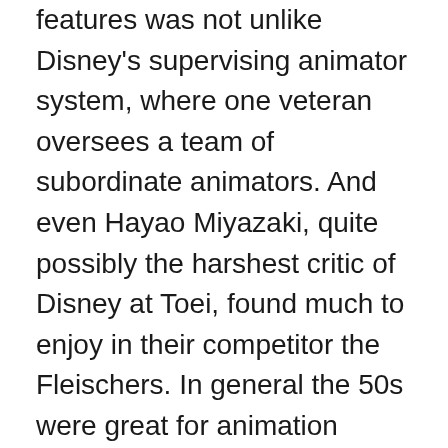features was not unlike Disney's supervising animator system, where one veteran oversees a team of subordinate animators. And even Hayao Miyazaki, quite possibly the harshest critic of Disney at Toei, found much to enjoy in their competitor the Fleischers. In general the 50s were great for animation consumption in Japan. The removal of the imperial government's xenophobic censorship laws and the discounted prices of foreign imports led to an influx of animation from all over the world, not only from America but also from France (Paul Grimault), Czechoslovakia (Jiri Trnka), Canada (Norman McLaren), and Britain (Halas/Batchelor). Squint and the early days of anime start to resemble the various New Waves that were happening in live action cinema around the same time. Like the New Wave, anime was built on an admiration for the tradition that came before it, but also like the New Wave its artists consciously went in a